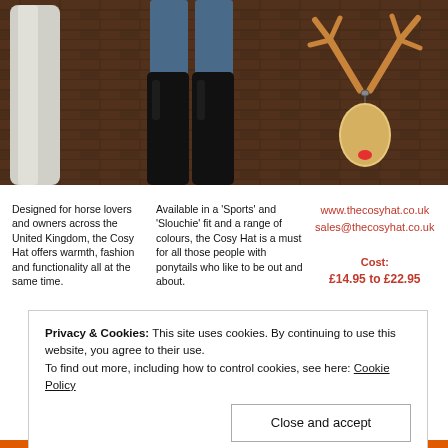[Figure (photo): Photo showing horse legs and person's booted legs in a stable/barn setting, with a cartoon reindeer ornament in the upper right corner]
Designed for horse lovers and owners across the United Kingdom, the Cosy Hat offers warmth, fashion and functionality all at the same time.
Available in a 'Sports' and 'Slouchie' fit and a range of colours, the Cosy Hat is a must for all those people with ponytails who like to be out and about.
www.thecosyhat.co.uk
sales@thecosyhat.co.uk

Cost:
£14.95 to £22.95
[Figure (illustration): Three Christmas baubles/ornaments: two silver/grey and one pink/magenta in the center]
Privacy & Cookies: This site uses cookies. By continuing to use this website, you agree to their use.
To find out more, including how to control cookies, see here: Cookie Policy
Close and accept